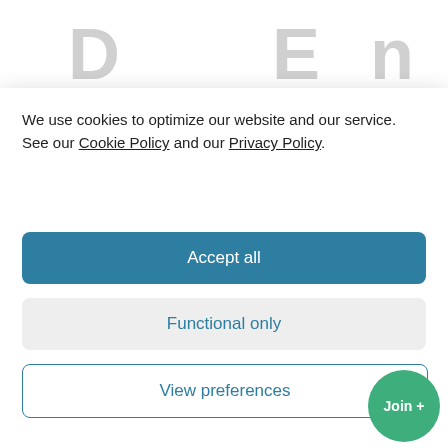[Figure (screenshot): Partial background page showing large grey letters D, E, N partially visible behind a cookie consent modal overlay]
We use cookies to optimize our website and our service. See our Cookie Policy and our Privacy Policy.
Accept all
Functional only
View preferences
Join +